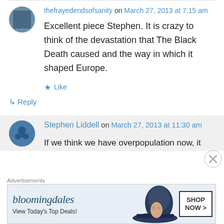thefrayedendsofsanity on March 27, 2013 at 7:15 am
Excellent piece Stephen. It is crazy to think of the devastation that The Black Death caused and the way in which it shaped Europe.
Like
↳ Reply
Stephen Liddell on March 27, 2013 at 11:30 am
If we think we have overpopulation now, it
[Figure (screenshot): Bloomingdale's advertisement banner: 'View Today's Top Deals!' with SHOP NOW button and woman in hat image]